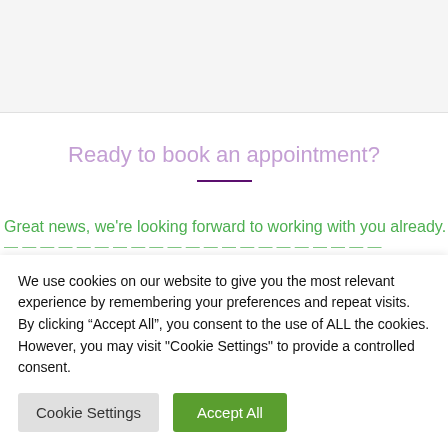Ready to book an appointment?
Great news, we're looking forward to working with you already. You
We use cookies on our website to give you the most relevant experience by remembering your preferences and repeat visits. By clicking “Accept All”, you consent to the use of ALL the cookies. However, you may visit "Cookie Settings" to provide a controlled consent.
Cookie Settings | Accept All